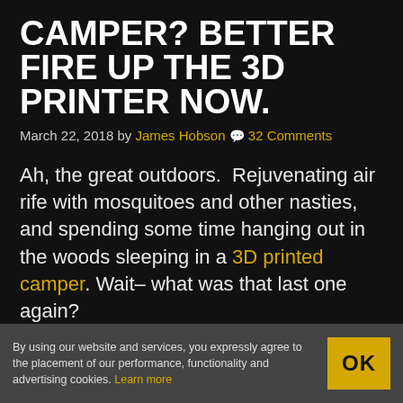CAMPER? BETTER FIRE UP THE 3D PRINTER NOW.
March 22, 2018 by James Hobson 💬 32 Comments
Ah, the great outdoors.  Rejuvenating air rife with mosquitoes and other nasties, and spending some time hanging out in the woods sleeping in a 3D printed camper. Wait– what was that last one again?
Yep, it's exactly what it sounds like. A
By using our website and services, you expressly agree to the placement of our performance, functionality and advertising cookies. Learn more  OK